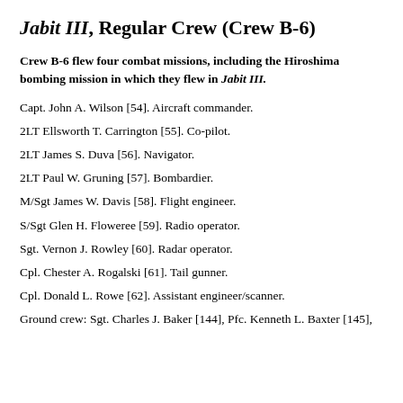Jabit III, Regular Crew (Crew B-6)
Crew B-6 flew four combat missions, including the Hiroshima bombing mission in which they flew in Jabit III.
Capt. John A. Wilson [54]. Aircraft commander.
2LT Ellsworth T. Carrington [55]. Co-pilot.
2LT James S. Duva [56]. Navigator.
2LT Paul W. Gruning [57]. Bombardier.
M/Sgt James W. Davis [58]. Flight engineer.
S/Sgt Glen H. Floweree [59]. Radio operator.
Sgt. Vernon J. Rowley [60]. Radar operator.
Cpl. Chester A. Rogalski [61]. Tail gunner.
Cpl. Donald L. Rowe [62]. Assistant engineer/scanner.
Ground crew: Sgt. Charles J. Baker [144], Pfc. Kenneth L. Baxter [145],